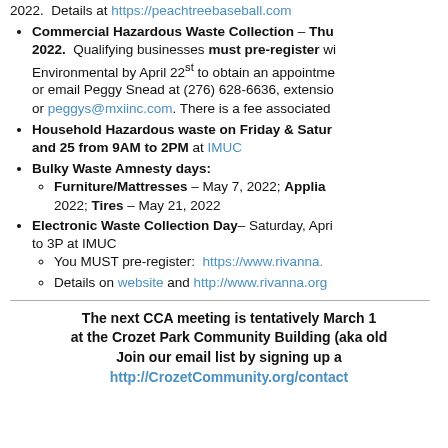2022.  Details at https://peachtreebaseball.com
Commercial Hazardous Waste Collection – Thu 2022.  Qualifying businesses must pre-register with Environmental by April 22nd to obtain an appointment, or email Peggy Snead at (276) 628-6636, extension, or peggys@mxiinc.com. There is a fee associated with
Household Hazardous waste on Friday & Saturday and 25 from 9AM to 2PM at IMUC
Bulky Waste Amnesty days:
Furniture/Mattresses – May 7, 2022; Appliances 2022; Tires – May 21, 2022
Electronic Waste Collection Day– Saturday, April to 3P at IMUC
You MUST pre-register: https://www.rivanna.
Details on website and http://www.rivanna.org
The next CCA meeting is tentatively March 16 at the Crozet Park Community Building (aka old Join our email list by signing up at http://CrozetCommunity.org/contact